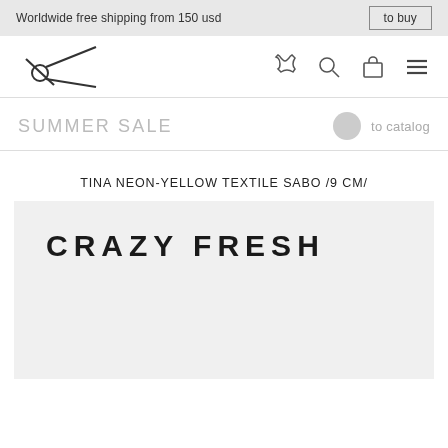Worldwide free shipping from 150 usd
[Figure (logo): Brand logo with scissors/needle icon]
SUMMER SALE
to catalog
TINA NEON-YELLOW TEXTILE SABO /9 CM/
[Figure (photo): Product image area with text CRAZY FRESH on grey background]